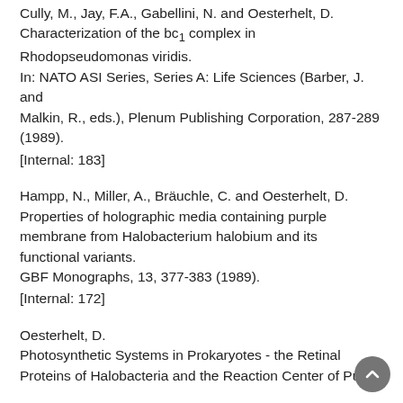Cully, M., Jay, F.A., Gabellini, N. and Oesterhelt, D. Characterization of the bc1 complex in Rhodopseudomonas viridis. In: NATO ASI Series, Series A: Life Sciences (Barber, J. and Malkin, R., eds.), Plenum Publishing Corporation, 287-289 (1989). [Internal: 183]
Hampp, N., Miller, A., Bräuchle, C. and Oesterhelt, D. Properties of holographic media containing purple membrane from Halobacterium halobium and its functional variants. GBF Monographs, 13, 377-383 (1989). [Internal: 172]
Oesterhelt, D. Photosynthetic Systems in Prokaryotes - the Retinal Proteins of Halobacteria and the Reaction Center of Pur...